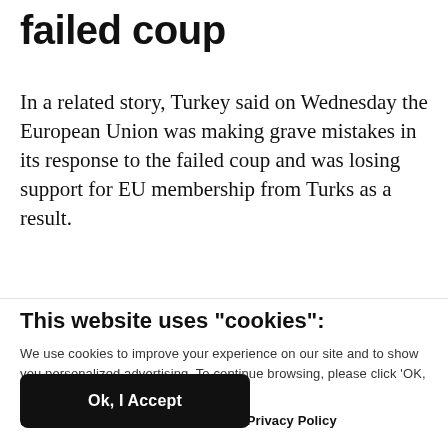failed coup
In a related story, Turkey said on Wednesday the European Union was making grave mistakes in its response to the failed coup and was losing support for EU membership from Turks as a result.
This website uses "cookies":
We use cookies to improve your experience on our site and to show you personalized advertising. To continue browsing, please click ‘OK, I Accept’.
For more information, please read our Privacy Policy
Ok, I Accept